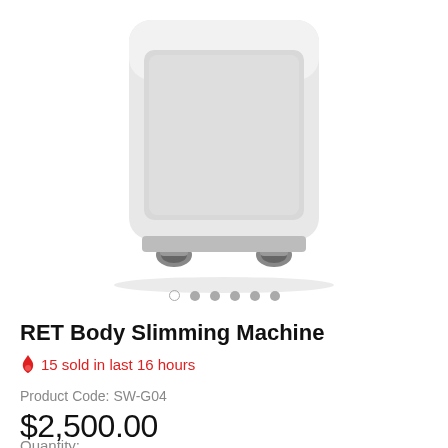[Figure (photo): RET Body Slimming Machine product photo — a white boxy medical/aesthetic device on small dark caster wheels, shown from the front, cropped at the top]
RET Body Slimming Machine
🔥 15 sold in last 16 hours
Product Code: SW-G04
$2,500.00
Quantity: